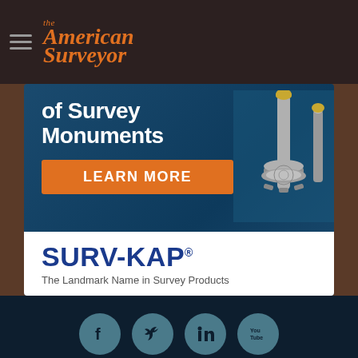The American Surveyor
[Figure (illustration): Advertisement banner for SURV-KAP survey monuments. Shows text 'of Survey Monuments' with a LEARN MORE orange button, and SURV-KAP branding with tagline 'The Landmark Name in Survey Products'. Background shows survey monument hardware.]
[Figure (infographic): Social media icons row: Facebook, Twitter, LinkedIn, YouTube — circular teal buttons on dark navy background]
PARTNER SITES
[Figure (logo): LIDAR magazine logo in large grey text, and geojobs.biz logo with circular icon]